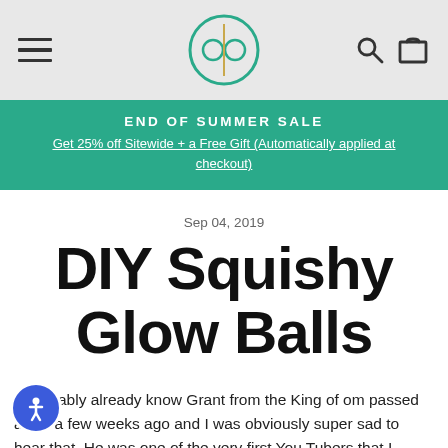Navigation header with hamburger menu, PPB logo, search and cart icons
END OF SUMMER SALE
Get 25% off Sitewide + a Free Gift (Automatically applied at checkout)
Sep 04, 2019
DIY Squishy Glow Balls
...u probably already know Grant from the King of ...om passed away a few weeks ago and I was obviously super sad to hear that. He was one of the very first You Tubers that I had...